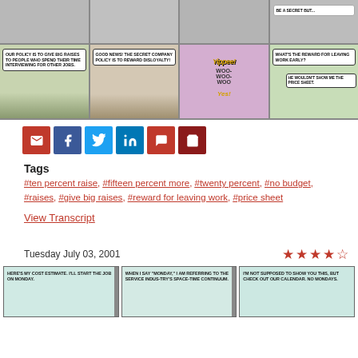[Figure (illustration): Top row of Dilbert comic strip panels (partial, grayscale/muted) showing office characters]
[Figure (illustration): Second row of Dilbert comic strip panels: (1) Boss says our policy is to give big raises to people who spend their time interviewing for other jobs. (2) Good news! The secret company policy is to reward disloyalty! (3) Yippee! Woo-woo-woo Yes! (4) What's the reward for leaving work early? He wouldn't show me the price sheet.]
[Figure (illustration): Social sharing buttons: email, Facebook, Twitter, LinkedIn, comment, cart]
Tags
#ten percent raise, #fifteen percent more, #twenty percent, #no budget, #raises, #give big raises, #reward for leaving work, #price sheet
View Transcript
Tuesday July 03, 2001
[Figure (illustration): Star rating: 4 out of 5 stars (4 red filled stars and 1 half star)]
[Figure (illustration): Bottom row of Dilbert comic strip panels (partial): Here's my cost estimate. I'll start the job on Monday. / When I say Monday I am referring to the service industry's space-time continuum. / I'm not supposed to show you this, but check out our calendar. No Mondays.]